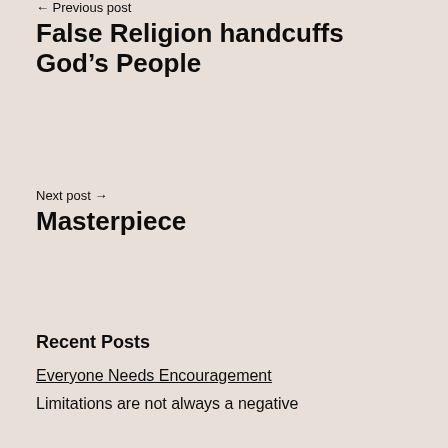← Previous post
False Religion handcuffs God's People
Next post →
Masterpiece
Recent Posts
Everyone Needs Encouragement
Limitations are not always a negative